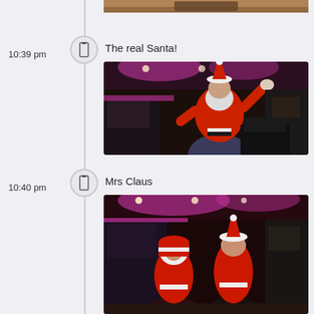[Figure (photo): Partial top photo of a person, cropped at top of page]
10:39 pm
The real Santa!
[Figure (photo): Man dressed in Santa Claus costume (red suit, white beard, Santa hat) with arms raised in a living room with pink/magenta lighting]
10:40 pm
Mrs Claus
[Figure (photo): Person dressed in Mrs Claus costume in the same room with pink/magenta lighting]